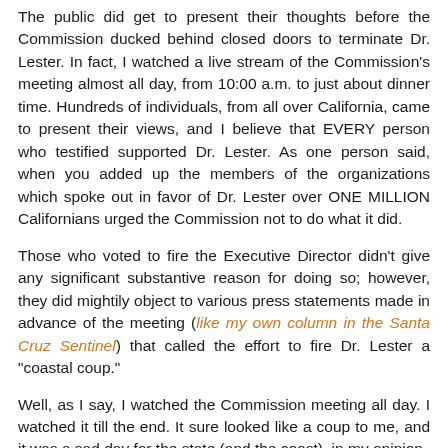The public did get to present their thoughts before the Commission ducked behind closed doors to terminate Dr. Lester. In fact, I watched a live stream of the Commission's meeting almost all day, from 10:00 a.m. to just about dinner time. Hundreds of individuals, from all over California, came to present their views, and I believe that EVERY person who testified supported Dr. Lester. As one person said, when you added up the members of the organizations which spoke out in favor of Dr. Lester over ONE MILLION Californians urged the Commission not to do what it did.
Those who voted to fire the Executive Director didn't give any significant substantive reason for doing so; however, they did mightily object to various press statements made in advance of the meeting (like my own column in the Santa Cruz Sentinel) that called the effort to fire Dr. Lester a "coastal coup."
Well, as I say, I watched the Commission meeting all day. I watched it till the end. It sure looked like a coup to me, and it was a sad day for the state (and the coast), in my opinion.